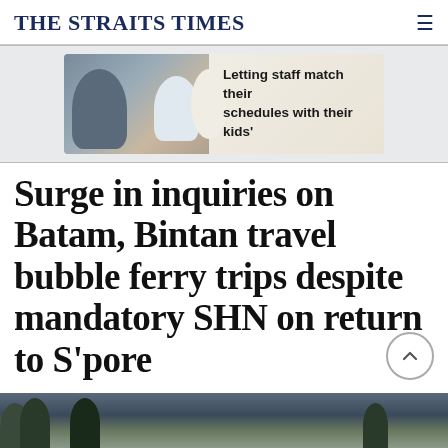THE STRAITS TIMES
[Figure (photo): Advertisement banner showing an adult and child, with text: Letting staff match their schedules with their kids']
Surge in inquiries on Batam, Bintan travel bubble ferry trips despite mandatory SHN on return to S'pore
[Figure (photo): Bottom strip photo showing tropical palm trees against a cloudy sky]